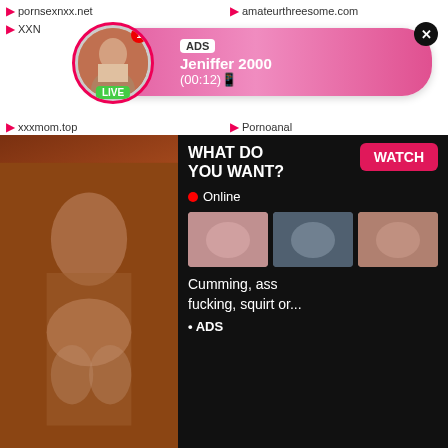pornsexnxx.net
amateurthreesome.com
XXN
[Figure (screenshot): Ad popup showing a live user profile named Jeniffer 2000 with timer (00:12) and LIVE badge, with close button]
xxxmom.top
Pornoanal
[Figure (screenshot): Adult ad block showing image on left and 'WHAT DO YOU WANT?' text with WATCH button, Online indicator, thumbnail images, and text 'Cumming, ass fucking, squirt or...' with ADS label and close button]
XXXPorno
NUDEVIDS.ORG
wwwxxx.top
Hotnudegirls
xnxxvideoporno.com
Mother And Son Porn Videos
XNXX Teen Videos
milfxnxx.com
XNXX Teen Video
hotsexvideo.vip
xnxxteen.top
Milfrabbit Porn
XNXX Teen Videos
milffox.top